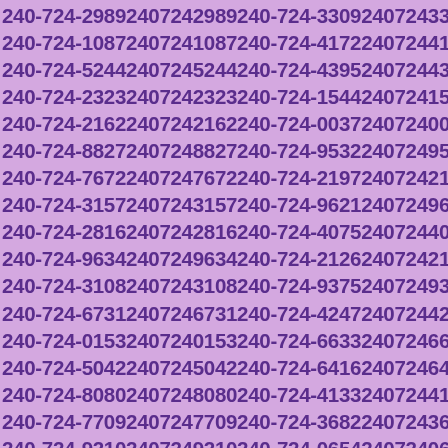240-724-2989 2407242989 240-724-3309 2407243309 240-724-1087 2407241087 240-724-4172 2407244172 240-724-5244 2407245244 240-724-4395 2407244395 240-724-2323 2407242323 240-724-1544 2407241544 240-724-2162 2407242162 240-724-0037 2407240037 240-724-8827 2407248827 240-724-9532 2407249532 240-724-7672 2407247672 240-724-2197 2407242197 240-724-3157 2407243157 240-724-9621 2407249621 240-724-2816 2407242816 240-724-4075 2407244075 240-724-9634 2407249634 240-724-2126 2407242126 240-724-3108 2407243108 240-724-9375 2407249375 240-724-6731 2407246731 240-724-4247 2407244247 240-724-0153 2407240153 240-724-6633 2407246633 240-724-5042 2407245042 240-724-6416 2407246416 240-724-8080 2407248080 240-724-4133 2407244133 240-724-7709 2407247709 240-724-3682 2407243682 240-724-9210 2407249210 240-724-0654 2407240654 240-724-5550 2407245550 240-724-0112 2407240112 240-724-9682 2407249682 240-724-1208 2407241208 240-724-5482 2407245482 240-724-5666 2407245666 240-724-7719 2407247719 240-724-5349 2407245349